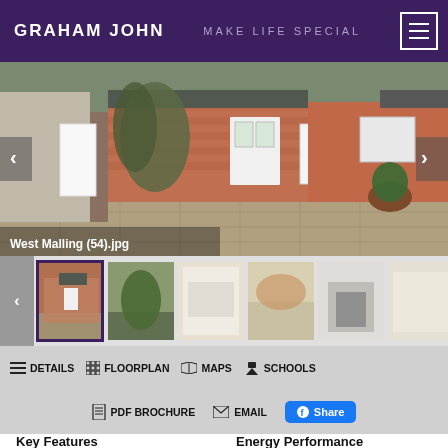GRAHAM JOHN — MAKE LIFE SPECIAL
[Figure (photo): Exterior photo of a brick cottage with a white door, garden patio, and foliage. Caption overlay reads 'West Malling (54).jpg']
[Figure (photo): Thumbnail strip showing 6 property photos: exterior brick house, garden trees, interior room, interior hallway, living room with fireplace, dining area]
DETAILS   FLOORPLAN   MAPS   SCHOOLS
PDF BROCHURE   EMAIL   Share
Key Features
Energy Performance